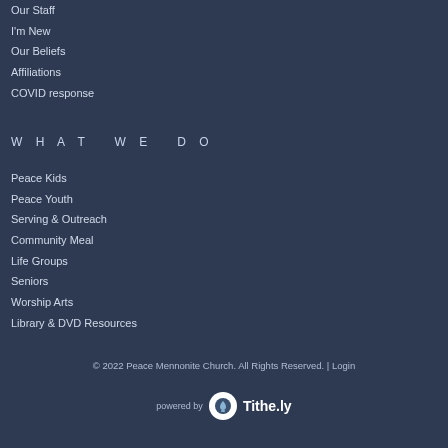Our Staff
I'm New
Our Beliefs
Affiliations
COVID response
WHAT WE DO
Peace Kids
Peace Youth
Serving & Outreach
Community Meal
Life Groups
Seniors
Worship Arts
Library & DVD Resources
© 2022 Peace Mennonite Church. All Rights Reserved. | Login
powered by Tithe.ly